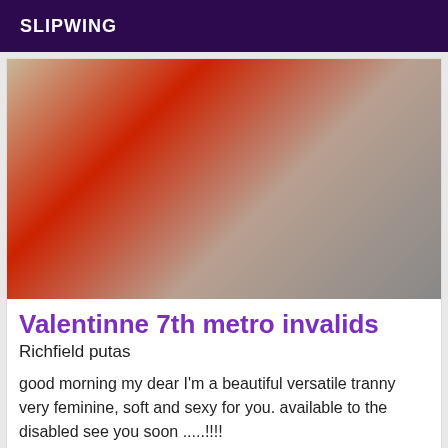SLIPWING
[Figure (photo): A person in a red outfit photographed from above]
Valentinne 7th metro invalids
Richfield putas
good morning my dear I'm a beautiful versatile tranny very feminine, soft and sexy for you. available to the disabled see you soon .....!!!!